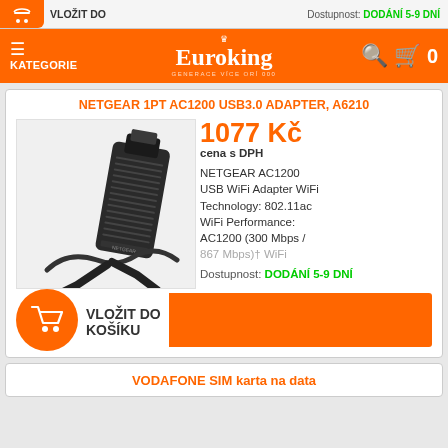Dostupnost: DODÁNÍ 5-9 DNÍ
[Figure (screenshot): Euroking e-shop navigation bar with hamburger menu (KATEGORIE), Euroking logo with crown, search icon, and cart icon with 0]
NETGEAR 1PT AC1200 USB3.0 ADAPTER, A6210
[Figure (photo): Photo of NETGEAR AC1200 USB WiFi Adapter A6210, a black USB dongle with angled design]
1077 Kč
cena s DPH
NETGEAR AC1200 USB WiFi Adapter WiFi Technology: 802.11ac WiFi Performance: AC1200 (300 Mbps / 867 Mbps)† WiFi
Dostupnost: DODÁNÍ 5-9 DNÍ
VLOŽIT DO
KOŠÍKU
VODAFONE SIM karta na data